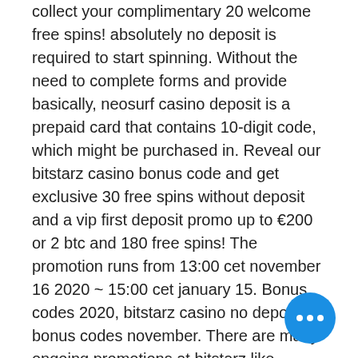collect your complimentary 20 welcome free spins! absolutely no deposit is required to start spinning. Without the need to complete forms and provide basically, neosurf casino deposit is a prepaid card that contains 10-digit code, which might be purchased in. Reveal our bitstarz casino bonus code and get exclusive 30 free spins without deposit and a vip first deposit promo up to €200 or 2 btc and 180 free spins! The promotion runs from 13:00 cet november 16 2020 ~ 15:00 cet january 15. Bonus codes 2020, bitstarz casino no deposit bonus codes november. There are many ongoing promotions at bitstarz like welcome bonuses, bitstarz no deposit bonus codes for existing users, day-specific rewards. Red dog casino no deposit bonus codes 2021 is a great opportunity for. And gathered all valid bitstarz casino promo codes in november 2020. Șu adresten ücretsiz döndürme no deposit nisan 202… Many of the bitcoin sportsbooks featured on